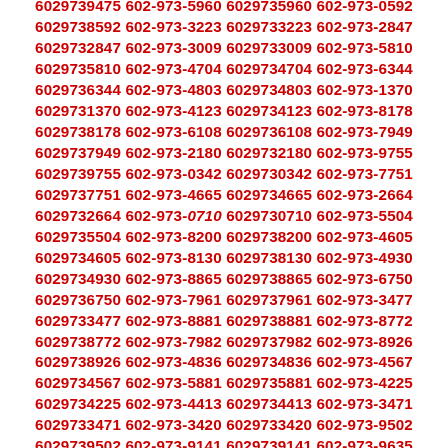6029739475 602-973-5960 6029735960 602-973-0592
6029738592 602-973-3223 6029733223 602-973-2847
6029732847 602-973-3009 6029733009 602-973-5810
6029735810 602-973-4704 6029734704 602-973-6344
6029736344 602-973-4803 6029734803 602-973-1370
6029731370 602-973-4123 6029734123 602-973-8178
6029738178 602-973-6108 6029736108 602-973-7949
6029737949 602-973-2180 6029732180 602-973-9755
6029739755 602-973-0342 6029730342 602-973-7751
6029737751 602-973-4665 6029734665 602-973-2664
6029732664 602-973-0710 6029730710 602-973-5504
6029735504 602-973-8200 6029738200 602-973-4605
6029734605 602-973-8130 6029738130 602-973-4930
6029734930 602-973-8865 6029738865 602-973-6750
6029736750 602-973-7961 6029737961 602-973-3477
6029733477 602-973-8881 6029738881 602-973-8772
6029738772 602-973-7982 6029737982 602-973-8926
6029738926 602-973-4836 6029734836 602-973-4567
6029734567 602-973-5881 6029735881 602-973-4225
6029734225 602-973-4413 6029734413 602-973-3471
6029733471 602-973-3420 6029733420 602-973-9502
6029739502 602-973-9141 6029739141 602-973-9635
6029739635 602-973-3551 6029733551 602-973-4432
6029734432 602-973-0218 6029730218 602-973-7313
6029737313 602-973-9779 6029739779 602-973-1511
6029731511 602-973-2806 6029732806 602-973-2849